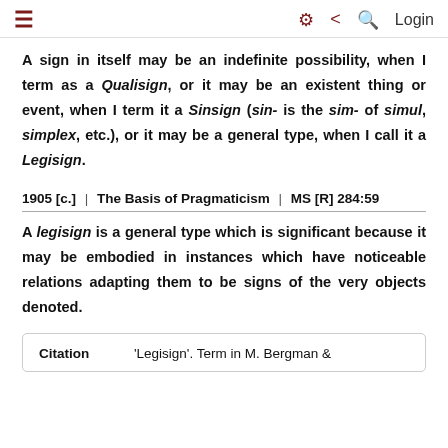☰   ⚙ ⋖ 🔍 Login
A sign in itself may be an indefinite possibility, when I term as a Qualisign, or it may be an existent thing or event, when I term it a Sinsign (sin- is the sim- of simul, simplex, etc.), or it may be a general type, when I call it a Legisign.
1905 [c.] | The Basis of Pragmaticism | MS [R] 284:59
A legisign is a general type which is significant because it may be embodied in instances which have noticeable relations adapting them to be signs of the very objects denoted.
| Citation |  |
| --- | --- |
| Citation | 'Legisign'. Term in M. Bergman & |